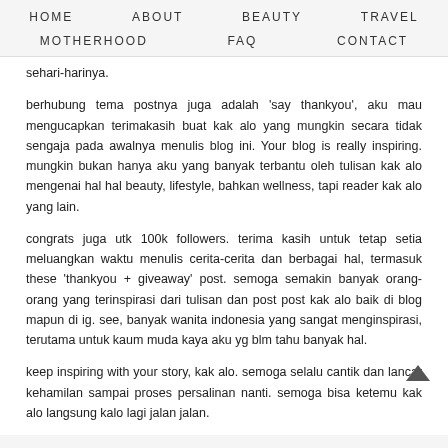HOME   ABOUT   BEAUTY   TRAVEL   MOTHERHOOD   FAQ   CONTACT
sehari-harinya.
berhubung tema postnya juga adalah 'say thankyou', aku mau mengucapkan terimakasih buat kak alo yang mungkin secara tidak sengaja pada awalnya menulis blog ini. Your blog is really inspiring. mungkin bukan hanya aku yang banyak terbantu oleh tulisan kak alo mengenai hal hal beauty, lifestyle, bahkan wellness, tapi reader kak alo yang lain.
congrats juga utk 100k followers. terima kasih untuk tetap setia meluangkan waktu menulis cerita-cerita dan berbagai hal, termasuk these 'thankyou + giveaway' post. semoga semakin banyak orang-orang yang terinspirasi dari tulisan dan post post kak alo baik di blog mapun di ig. see, banyak wanita indonesia yang sangat menginspirasi, terutama untuk kaum muda kaya aku yg blm tahu banyak hal.
keep inspiring with your story, kak alo. semoga selalu cantik dan lancar kehamilan sampai proses persalinan nanti. semoga bisa ketemu kak alo langsung kalo lagi jalan jalan.